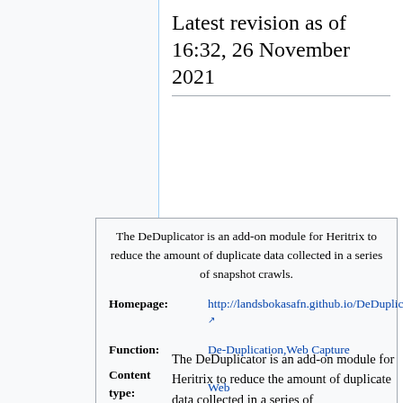Latest revision as of 16:32, 26 November 2021
The DeDuplicator is an add-on module for Heritrix to reduce the amount of duplicate data collected in a series of snapshot crawls.
Homepage: http://landsbokasafn.github.io/DeDuplicator/
Function: De-Duplication,Web Capture
Content type: Web
The DeDuplicator is an add-on module for Heritrix to reduce the amount of duplicate data collected in a series of